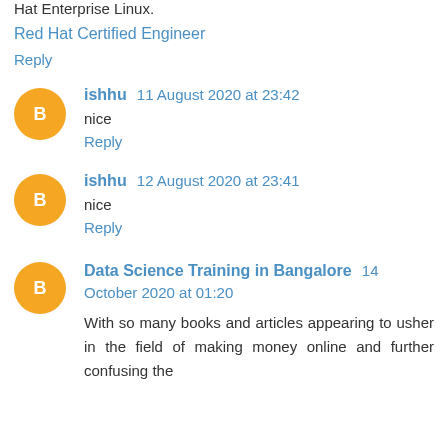Hat Enterprise Linux.
Red Hat Certified Engineer
Reply
ishhu  11 August 2020 at 23:42
nice
Reply
ishhu  12 August 2020 at 23:41
nice
Reply
Data Science Training in Bangalore  14 October 2020 at 01:20
With so many books and articles appearing to usher in the field of making money online and further confusing the